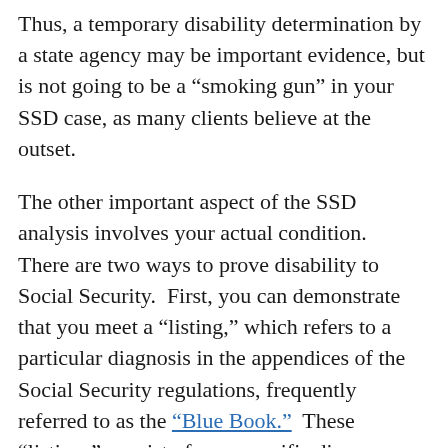Thus, a temporary disability determination by a state agency may be important evidence, but is not going to be a “smoking gun” in your SSD case, as many clients believe at the outset.
The other important aspect of the SSD analysis involves your actual condition. There are two ways to prove disability to Social Security. First, you can demonstrate that you meet a “listing,” which refers to a particular diagnosis in the appendices of the Social Security regulations, frequently referred to as the “Blue Book.” These “listings” consist of very specific diagnoses and symptoms. If these criteria are not met precisely, you will not be considered to have met the listing.